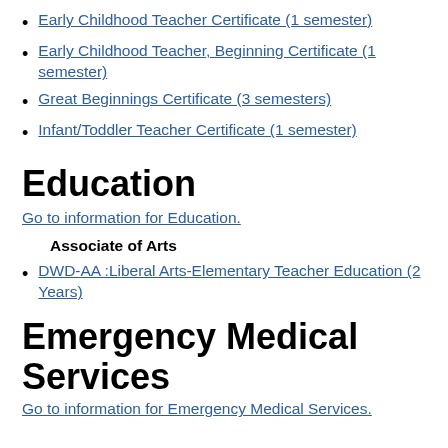Early Childhood Teacher Certificate (1 semester)
Early Childhood Teacher, Beginning Certificate (1 semester)
Great Beginnings Certificate (3 semesters)
Infant/Toddler Teacher Certificate (1 semester)
Education
Go to information for Education.
Associate of Arts
DWD-AA :Liberal Arts-Elementary Teacher Education (2 Years)
Emergency Medical Services
Go to information for Emergency Medical Services.